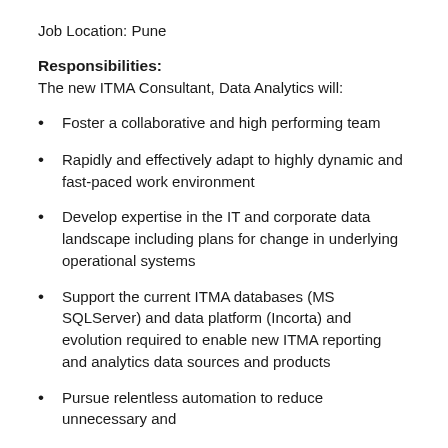Job Location: Pune
Responsibilities:
The new ITMA Consultant, Data Analytics will:
Foster a collaborative and high performing team
Rapidly and effectively adapt to highly dynamic and fast-paced work environment
Develop expertise in the IT and corporate data landscape including plans for change in underlying operational systems
Support the current ITMA databases (MS SQLServer) and data platform (Incorta) and evolution required to enable new ITMA reporting and analytics data sources and products
Pursue relentless automation to reduce unnecessary and